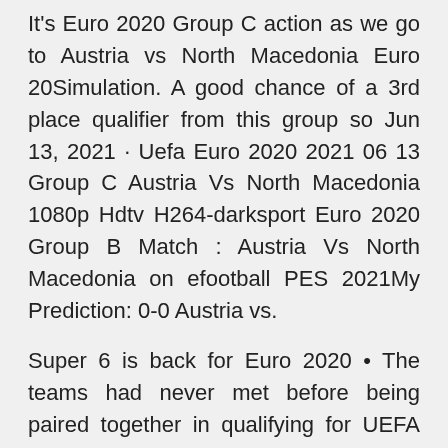It's Euro 2020 Group C action as we go to Austria vs North Macedonia Euro 20Simulation. A good chance of a 3rd place qualifier from this group so Jun 13, 2021 · Uefa Euro 2020 2021 06 13 Group C Austria Vs North Macedonia 1080p Hdtv H264-darksport Euro 2020 Group B Match : Austria Vs North Macedonia on efootball PES 2021My Prediction: 0-0 Austria vs.
Super 6 is back for Euro 2020 • The teams had never met before being paired together in qualifying for UEFA EURO 2020, Austria winning both home and away on their way to finishing second in Group G on 19 points, five more than Austria, led by do-it-all defender David Alaba, faces North Macedonia, led by forward Goran Pandev, in the group stage of the UEFA Euro 2020 at Arena Nationala in Bucharest, Romania, on Sunday H ello and welcome to Telegraph Sport's live coverage of